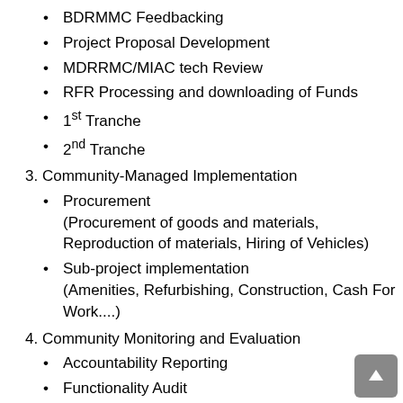BDRMMC Feedbacking
Project Proposal Development
MDRRMC/MIAC tech Review
RFR Processing and downloading of Funds
1st Tranche
2nd Tranche
3. Community-Managed Implementation
Procurement (Procurement of goods and materials, Reproduction of materials, Hiring of Vehicles)
Sub-project implementation (Amenities, Refurbishing, Construction, Cash For Work....)
4. Community Monitoring and Evaluation
Accountability Reporting
Functionality Audit
Turn-over of SPs
Sustainability Planning Workshop